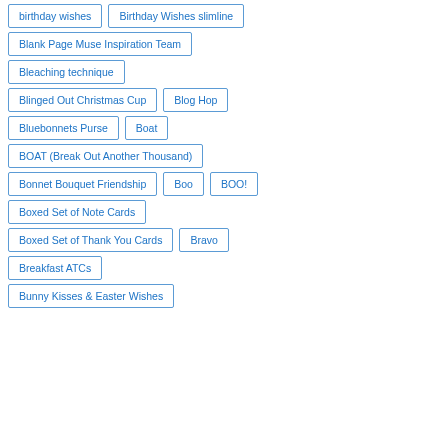birthday wishes
Birthday Wishes slimline
Blank Page Muse Inspiration Team
Bleaching technique
Blinged Out Christmas Cup
Blog Hop
Bluebonnets Purse
Boat
BOAT (Break Out Another Thousand)
Bonnet Bouquet Friendship
Boo
BOO!
Boxed Set of Note Cards
Boxed Set of Thank You Cards
Bravo
Breakfast ATCs
Bunny Kisses & Easter Wishes